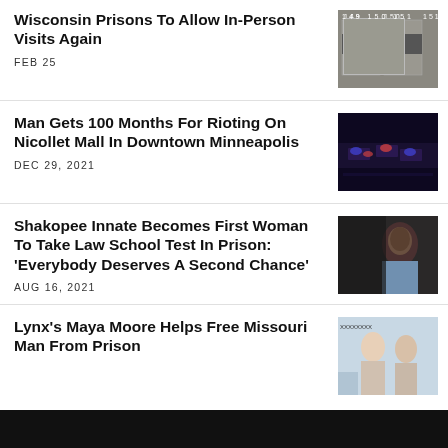Wisconsin Prisons To Allow In-Person Visits Again
FEB 25
[Figure (photo): Exterior of a prison building with numbered doors (149, 150, 151)]
Man Gets 100 Months For Rioting On Nicollet Mall In Downtown Minneapolis
DEC 29, 2021
[Figure (photo): Aerial view of police vehicles with flashing blue and red lights at night on a street]
Shakopee Innate Becomes First Woman To Take Law School Test In Prison: 'Everybody Deserves A Second Chance'
AUG 16, 2021
[Figure (photo): Portrait of a Black woman in a blue shirt looking to the side]
Lynx's Maya Moore Helps Free Missouri Man From Prison
[Figure (photo): Two people standing outdoors, partially visible]